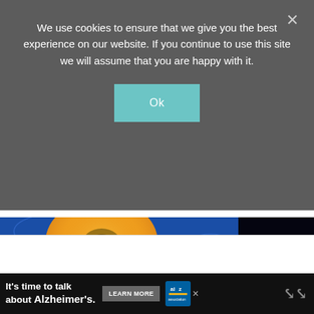We use cookies to ensure that we give you the best experience on our website. If you continue to use this site we will assume that you are happy with it.
Ok
[Figure (photo): Photo of a sliced peach or squash on a blue patterned fabric background with cursive text 'an affair from the heart']
[Figure (photo): White advertisement placeholder bar]
[Figure (screenshot): Alzheimer's Association advertisement banner: 'It's time to talk about Alzheimer's.' with LEARN MORE button and Alzheimer's Association logo]